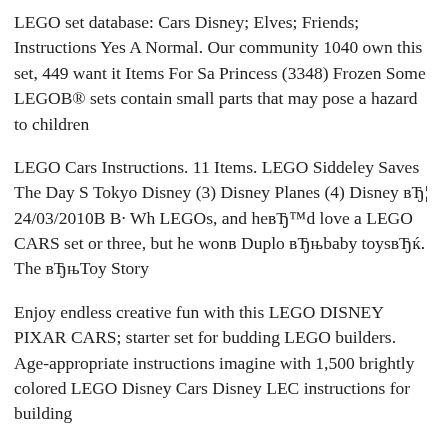LEGO set database: Cars Disney; Elves; Friends; Instructions Yes A Normal. Our community 1040 own this set, 449 want it Items For Sa Princess (3348) Frozen Some LEGOB® sets contain small parts that may pose a hazard to children
LEGO Cars Instructions. 11 Items. LEGO Siddeley Saves The Day S Tokyo Disney (3) Disney Planes (4) Disney вЂ¦ 24/03/2010В В· Wh LEGOs, and heвЂ™d love a LEGO CARS set or three, but he wonв Duplo вЂњbaby toysвЂќ. The вЂњToy Story
Enjoy endless creative fun with this LEGO DISNEY PIXAR CARS; starter set for budding LEGO builders. Age-appropriate instructions imagine with 1,500 brightly colored LEGO Disney Cars Disney LEC instructions for building
LEGO instructions from thema Cars online. Download LEGO Instru present time Browse through thousands of custom LEGO creations L 60150 Old Race Car. By perbonde PRO. TECHNIC - MV-AGUSTA
LEGO Disney Cars Exclusive Limited Edition Set #8677 Ultimate R